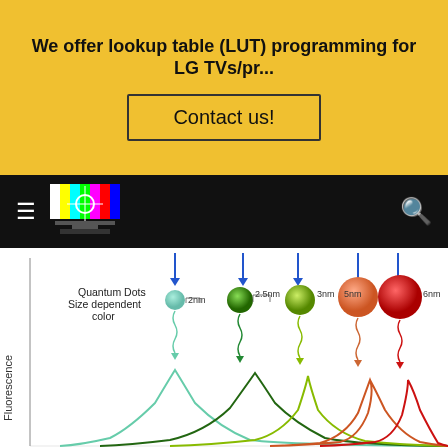We offer lookup table (LUT) programming for LG TVs/pr...
Contact us!
[Figure (infographic): Navigation bar with hamburger menu, TV test pattern logo, and search icon on black background]
[Figure (infographic): Quantum Dots size dependent color diagram showing fluorescence emission peaks for different quantum dot sizes: 2nm (cyan/teal), 2.5nm (dark green), 3nm (yellow-green), 5nm (orange), 6nm (red). Blue arrow excitation sources shown above each dot size, with wavy emission lines leading down to Gaussian fluorescence curves plotted on a fluorescence vs wavelength graph.]